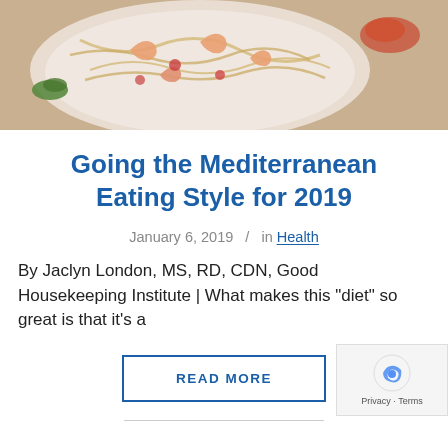[Figure (photo): A white bowl of pasta with shrimp, tomatoes, and herbs with red spice powder scattered on a white background]
Going the Mediterranean Eating Style for 2019
January 6, 2019  /  in Health
By Jaclyn London, MS, RD, CDN, Good Housekeeping Institute | What makes this "diet" so great is that it's a
READ MORE
[Figure (other): reCAPTCHA badge with Privacy and Terms text]